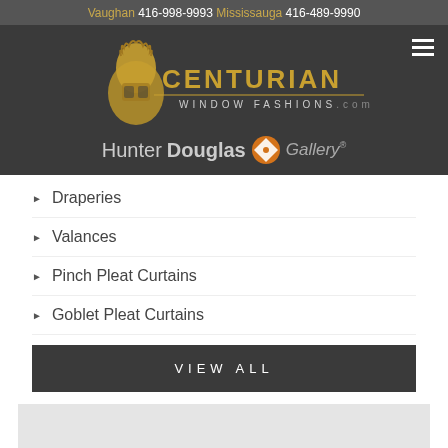Vaughan 416-998-9993 Mississauga 416-489-9990
[Figure (logo): Centurian Window Fashions logo with roman soldier helmet and gold text, followed by HunterDouglas Gallery branding]
Draperies
Valances
Pinch Pleat Curtains
Goblet Pleat Curtains
VIEW ALL